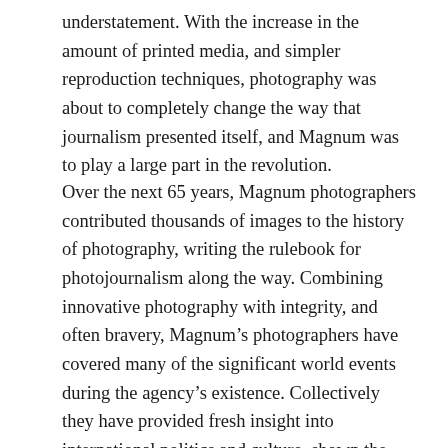understatement. With the increase in the amount of printed media, and simpler reproduction techniques, photography was about to completely change the way that journalism presented itself, and Magnum was to play a large part in the revolution.
Over the next 65 years, Magnum photographers contributed thousands of images to the history of photography, writing the rulebook for photojournalism along the way. Combining innovative photography with integrity, and often bravery, Magnum’s photographers have covered many of the significant world events during the agency’s existence. Collectively they have provided fresh insight into international politics and culture, shown the reality of conflicts and disasters, harnessed the growing power of celebrity, and consistently influenced world-wide opinion.